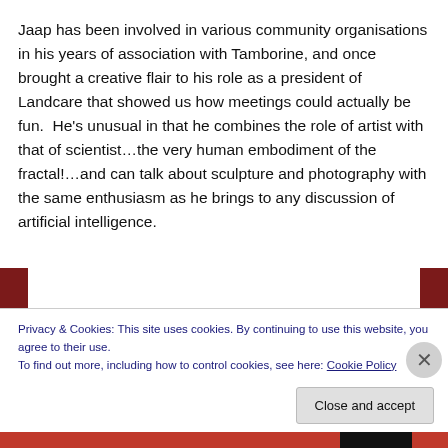Jaap has been involved in various community organisations in his years of association with Tamborine, and once brought a creative flair to his role as a president of Landcare that showed us how meetings could actually be fun. He's unusual in that he combines the role of artist with that of scientist…the very human embodiment of the fractal!…and can talk about sculpture and photography with the same enthusiasm as he brings to any discussion of artificial intelligence.
[Figure (other): Red banner with 'Start reading' button in black box, flanked by darker red side bars]
Privacy & Cookies: This site uses cookies. By continuing to use this website, you agree to their use.
To find out more, including how to control cookies, see here: Cookie Policy
Close and accept